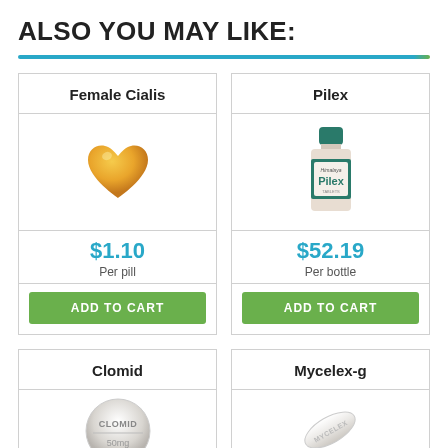ALSO YOU MAY LIKE:
[Figure (other): Product card for Female Cialis showing a gold/orange heart-shaped pill, price $1.10 per pill, Add to Cart button]
[Figure (other): Product card for Pilex showing a Himalaya Pilex bottle, price $52.19 per bottle, Add to Cart button]
[Figure (other): Product card for Clomid showing a round white tablet labeled CLOMID 50mg (partially visible)]
[Figure (other): Product card for Mycelex-g showing a white oblong capsule/tablet with text (partially visible)]